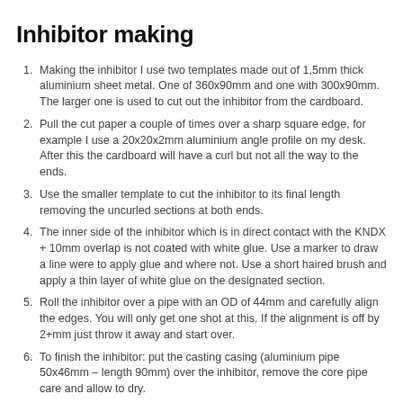Inhibitor making
Making the inhibitor I use two templates made out of 1,5mm thick aluminium sheet metal. One of 360x90mm and one with 300x90mm. The larger one is used to cut out the inhibitor from the cardboard.
Pull the cut paper a couple of times over a sharp square edge, for example I use a 20x20x2mm aluminium angle profile on my desk. After this the cardboard will have a curl but not all the way to the ends.
Use the smaller template to cut the inhibitor to its final length removing the uncurled sections at both ends.
The inner side of the inhibitor which is in direct contact with the KNDX + 10mm overlap is not coated with white glue. Use a marker to draw a line were to apply glue and where not. Use a short haired brush and apply a thin layer of white glue on the designated section.
Roll the inhibitor over a pipe with an OD of 44mm and carefully align the edges. You will only get one shot at this. If the alignment is off by 2+mm just throw it away and start over.
To finish the inhibitor: put the casting casing (aluminium pipe 50x46mm – length 90mm) over the inhibitor, remove the core pipe care and allow to dry.